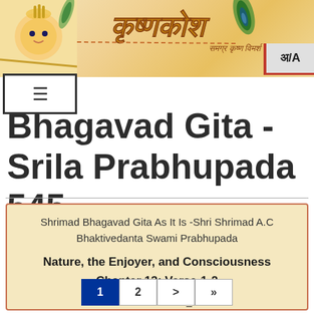[Figure (illustration): Krishna Kosha website header banner with decorative Sanskrit/Devanagari logo text, Krishna illustration, peacock feather, flute, and subtitle text in Devanagari]
Bhagavad Gita -Srila Prabhupada 545
Shrimad Bhagavad Gita As It Is -Shri Shrimad A.C Bhaktivedanta Swami Prabhupada
Nature, the Enjoyer, and Consciousness
Chapter 13: Verse-1-2
arjuna uvāca
prakrtimpurusam
1  2  >  »